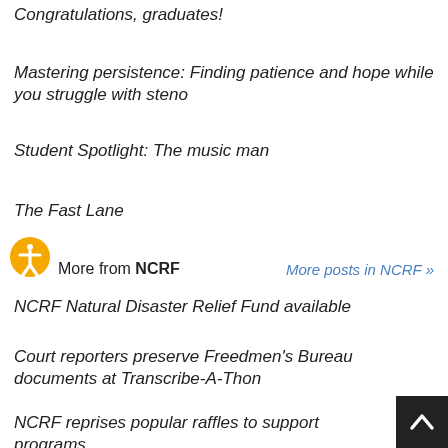Congratulations, graduates!
Mastering persistence:  Finding patience and hope while you struggle with steno
Student Spotlight: The music man
The Fast Lane
More from NCRF
More posts in NCRF »
NCRF Natural Disaster Relief Fund available
Court reporters preserve Freedmen's Bureau documents at Transcribe-A-Thon
NCRF reprises popular raffles to support programs